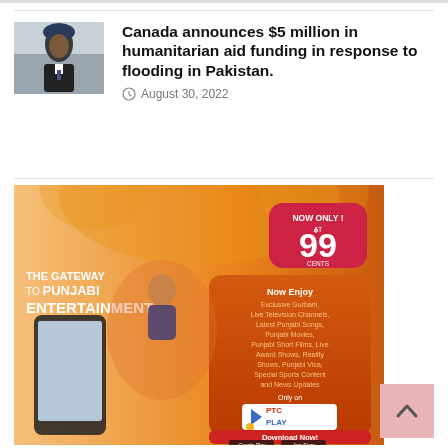[Figure (photo): Photo of a man in a turban speaking at a podium or in front of a building]
Canada announces $5 million in humanitarian aid funding in response to flooding in Pakistan.
August 30, 2022
[Figure (infographic): PTC Play advertisement: The Gateway to Punjabi Entertainment. Now only at 99 cents. Now Enjoy Exclusive Gurbani, Live Television Channels, Latest Punjabi Songs, Punjabi Movies, Punjabi Short Films, Live Award Shows, Reality Shows, Punjabi Vica, Special Sports Content and News Updates. Only on PTC Play. Available on Google Play and App Store. Download Now!]